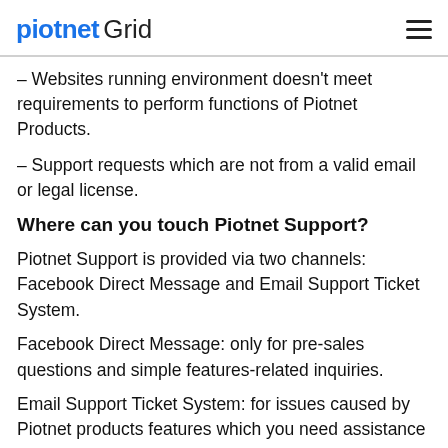piotnet Grid
– Websites running environment doesn't meet requirements to perform functions of Piotnet Products.
– Support requests which are not from a valid email or legal license.
Where can you touch Piotnet Support?
Piotnet Support is provided via two channels: Facebook Direct Message and Email Support Ticket System.
Facebook Direct Message: only for pre-sales questions and simple features-related inquiries.
Email Support Ticket System: for issues caused by Piotnet products features which you need assistance to